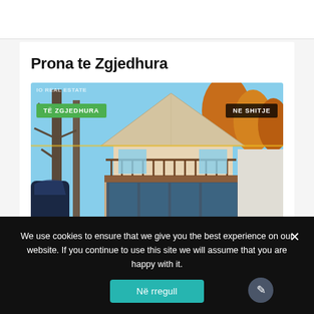Prona te Zgjedhura
[Figure (photo): A two-story house with a triangular roof and wooden balconies, surrounded by tall trees with autumn foliage. Two badges overlaid: 'TË ZGJEDHURA' (green, left) and 'NE SHITJE' (dark, right). Watermark text 'IO REAL ESTATE' at top left.]
We use cookies to ensure that we give you the best experience on our website. If you continue to use this site we will assume that you are happy with it.
Në rregull